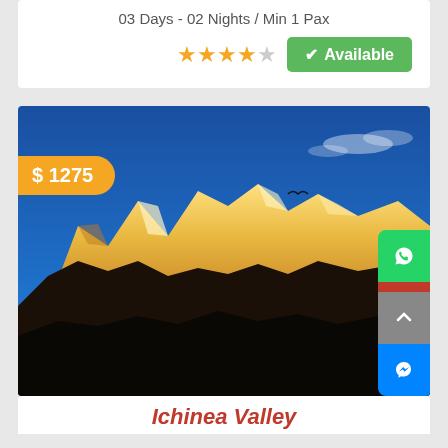03 Days - 02 Nights / Min 1 Pax
★★★★☆  ✓ Available
[Figure (photo): Mountain landscape with snow-capped peaks illuminated by golden light against a deep blue sky, with dark silhouetted foreground. Price badge showing $ 1275 in orange.]
Ichinea Valley